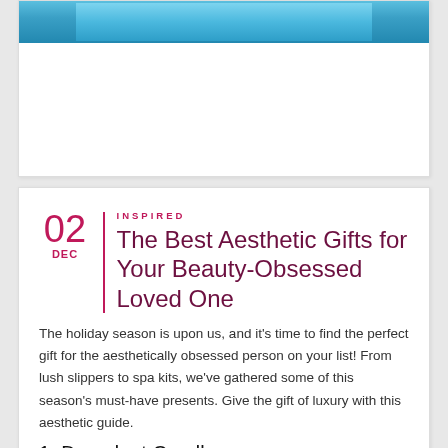[Figure (photo): Top portion of a card with a blue watercolor/abstract painting visible at the top edge]
The Best Aesthetic Gifts for Your Beauty-Obsessed Loved One
The holiday season is upon us, and it's time to find the perfect gift for the aesthetically obsessed person on your list! From lush slippers to spa kits, we've gathered some of this season's must-have presents. Give the gift of luxury with this aesthetic guide.
1. Decadent Candles
Treat your friend to soothing aromas and a relaxing